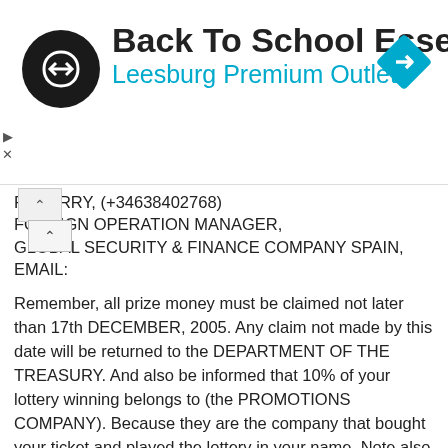[Figure (screenshot): Advertisement banner for 'Back To School Essentials' at Leesburg Premium Outlets, with a circular black logo featuring a double-arrow symbol and a blue diamond navigation icon on the right.]
FF LARRY, (+34638402768)
FOREIGN OPERATION MANAGER,
GLOBAL SECURITY & FINANCE COMPANY SPAIN,
EMAIL:
Remember, all prize money must be claimed not later than 17th DECEMBER, 2005. Any claim not made by this date will be returned to the DEPARTMENT OF THE TREASURY. And also be informed that 10% of your lottery winning belongs to (the PROMOTIONS COMPANY). Because they are the company that bought your ticket and played the lottery in your name. Note also that this 10% will be remitted after you have received your winnings prize, because the money is insured in your name already.
NOTE: In order to avoid unnecessary delays and complications, please remember to quote your reference and batch numbers in all correspondences with us; or your Claim